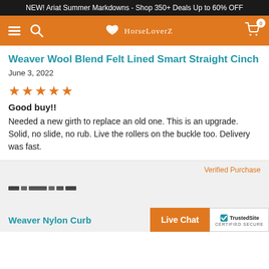NEW! Ariat Summer Markdowns - Shop 350+ Deals Up to 60% OFF
[Figure (screenshot): HorseLoverZ navigation bar with hamburger menu, search icon, horse logo, and shopping cart]
Weaver Wool Blend Felt Lined Smart Straight Cinch
June 3, 2022
[Figure (other): 5 orange star rating]
Good buy!!
Needed a new girth to replace an old one. This is an upgrade. Solid, no slide, no rub. Live the rollers on the buckle too. Delivery was fast.
Verified Purchase
[Figure (other): Blurred/redacted reviewer name or image]
Weaver Nylon Curb
Live Chat
[Figure (other): TrustedSite Certified Secure badge]